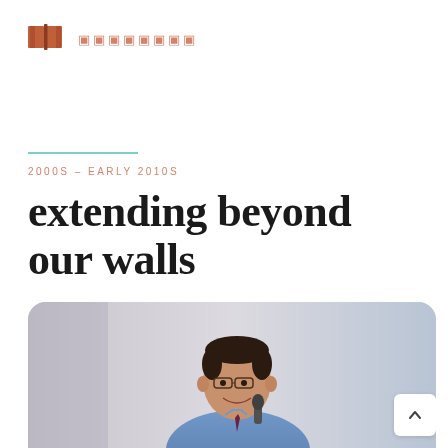▣ ▣▣▣▣▣▣▣
2000S – EARLY 2010S
extending beyond our walls
[Figure (photo): A man in a blue dress shirt and dark tie smiling and holding a microphone, speaking at an event. The background is light grey/blue.]